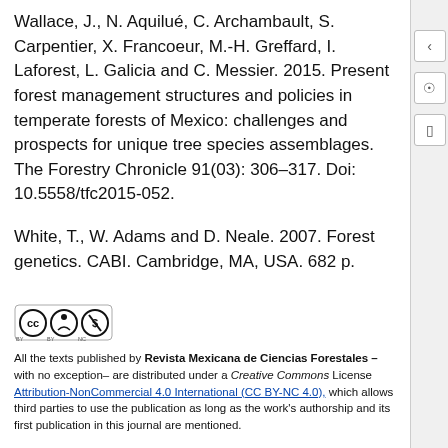Wallace, J., N. Aquilué, C. Archambault, S. Carpentier, X. Francoeur, M.-H. Greffard, I. Laforest, L. Galicia and C. Messier. 2015. Present forest management structures and policies in temperate forests of Mexico: challenges and prospects for unique tree species assemblages. The Forestry Chronicle 91(03): 306–317. Doi: 10.5558/tfc2015-052.
White, T., W. Adams and D. Neale. 2007. Forest genetics. CABI. Cambridge, MA, USA. 682 p.
[Figure (logo): Creative Commons CC BY-NC license logo]
All the texts published by Revista Mexicana de Ciencias Forestales –with no exception– are distributed under a Creative Commons License Attribution-NonCommercial 4.0 International (CC BY-NC 4.0), which allows third parties to use the publication as long as the work's authorship and its first publication in this journal are mentioned.